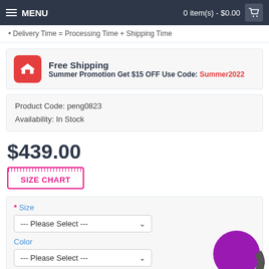MENU | 0 item(s) - $0.00
Delivery Time = Processing Time + Shipping Time
Free Shipping
Summer Promotion Get $15 OFF Use Code: Summer2022
Product Code: peng0823
Availability: In Stock
$439.00
[Figure (other): SIZE CHART button with ruler decoration]
* Size
--- Please Select ---
Color
--- Please Select ---